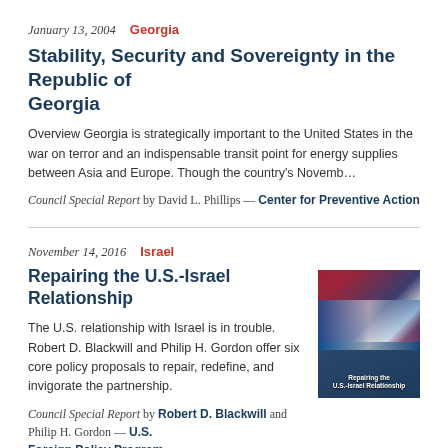January 13, 2004  Georgia
Stability, Security and Sovereignty in the Republic of Georgia
Overview Georgia is strategically important to the United States in the war on terror and an indispensable transit point for energy supplies between Asia and Europe. Though the country's Novemb…
Council Special Report by David L. Phillips — Center for Preventive Action
November 14, 2016  Israel
Repairing the U.S.-Israel Relationship
[Figure (photo): Book cover for Repairing the U.S.-Israel Relationship showing American and Israeli flags]
The U.S. relationship with Israel is in trouble. Robert D. Blackwill and Philip H. Gordon offer six core policy proposals to repair, redefine, and invigorate the partnership.
Council Special Report by Robert D. Blackwill and Philip H. Gordon — U.S. Foreign Policy Program